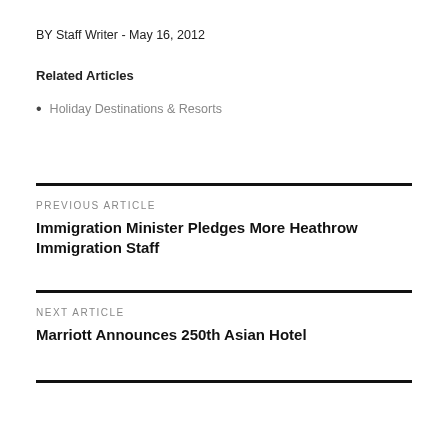BY Staff Writer - May 16, 2012
Related Articles
Holiday Destinations & Resorts
PREVIOUS ARTICLE
Immigration Minister Pledges More Heathrow Immigration Staff
NEXT ARTICLE
Marriott Announces 250th Asian Hotel